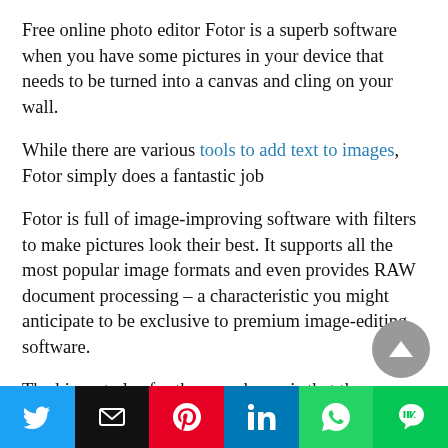Free online photo editor Fotor is a superb software when you have some pictures in your device that needs to be turned into a canvas and cling on your wall.
While there are various tools to add text to images, Fotor simply does a fantastic job
Fotor is full of image-improving software with filters to make pictures look their best. It supports all the most popular image formats and even provides RAW document processing – a characteristic you might anticipate to be exclusive to premium image-editing software.
The biggest plus for these packages is that they
[Figure (infographic): Social share bar with buttons: Twitter (blue), Email (black), Pinterest (red), LinkedIn (blue), WhatsApp (green), Line (green)]